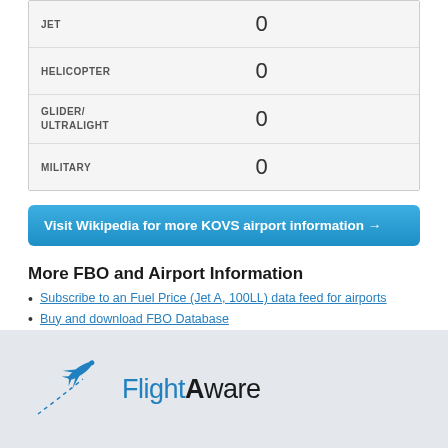| Type | Count |
| --- | --- |
| JET | 0 |
| HELICOPTER | 0 |
| GLIDER/
ULTRALIGHT | 0 |
| MILITARY | 0 |
Visit Wikipedia for more KOVS airport information →
More FBO and Airport Information
Subscribe to an Fuel Price (Jet A, 100LL) data feed for airports
Buy and download FBO Database
Buy or subscribe to FlightAware's Airport Database (airport name, ICAO/IATA codes, location, etc.)
[Figure (logo): FlightAware logo with airplane icon]